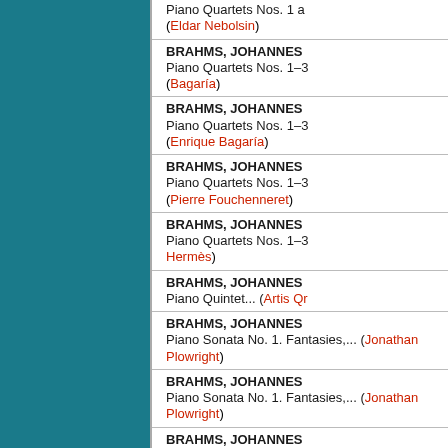BRAHMS, JOHANNES Piano Quartets Nos. 1 and... (Eldar Nebolsin)
BRAHMS, JOHANNES Piano Quartets Nos. 1–3 (Bagaría)
BRAHMS, JOHANNES Piano Quartets Nos. 1–3 (Enrique Bagaría)
BRAHMS, JOHANNES Piano Quartets Nos. 1–3 (Pierre Fouchenneret)
BRAHMS, JOHANNES Piano Quartets Nos. 1–3 Hermès
BRAHMS, JOHANNES Piano Quintet... (Artis Qr...
BRAHMS, JOHANNES Piano Sonata No. 1. Fantasies,... (Jonathan Plowright)
BRAHMS, JOHANNES Piano Sonata No. 1. Fantasies,... (Jonathan Plowright)
BRAHMS, JOHANNES